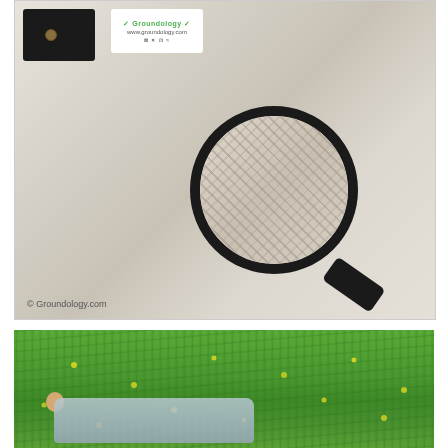[Figure (photo): Product photo of an earthing/grounding sheet with a Groundology label and washing instructions tag, a black snap pocket on the upper left, and a magnifying glass showing a close-up of the fabric texture (woven silver thread mesh). Copyright mark 'Groundology.com' at bottom left.]
[Figure (photo): Photo of a person lying on green grass with wildflowers (buttercups), wearing a silver/grey grounding sheet or sleeping bag, viewed from behind while outdoors.]